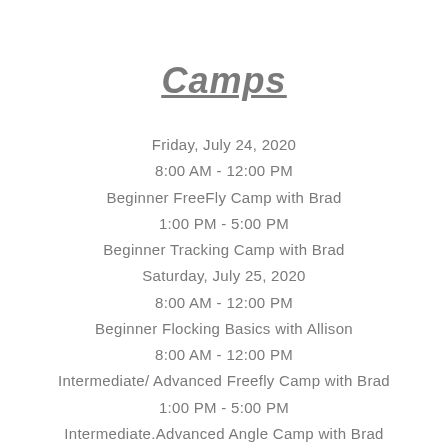Camps
Friday, July 24, 2020
8:00 AM - 12:00 PM
Beginner FreeFly Camp with Brad
1:00 PM - 5:00 PM
Beginner Tracking Camp with Brad
Saturday, July 25, 2020
8:00 AM - 12:00 PM
Beginner Flocking Basics with Allison
8:00 AM - 12:00 PM
Intermediate/ Advanced Freefly Camp with Brad
1:00 PM - 5:00 PM
Intermediate.Advanced Angle Camp with Brad